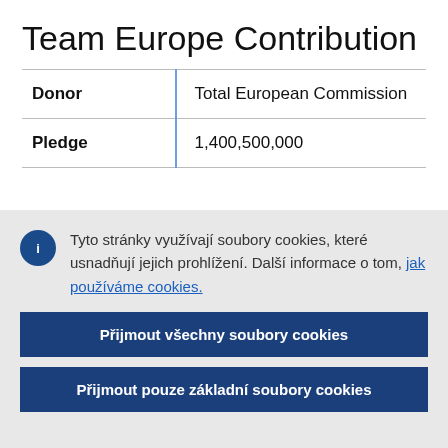Team Europe Contribution
| Donor | Pledge |
| --- | --- |
| Total European Commission | 1,400,500,000 |
Tyto stránky využívají soubory cookies, které usnadňují jejich prohlížení. Další informace o tom, jak používáme cookies.
Přijmout všechny soubory cookies
Přijmout pouze základní soubory cookies